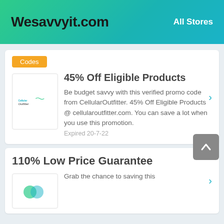Wesavvyit.com   All Stores
Codes
45% Off Eligible Products
Be budget savvy with this verified promo code from CellularOutfitter. 45% Off Eligible Products @ cellularoutfitter.com. You can save a lot when you use this promotion.
Expired 20-7-22
110% Low Price Guarantee
Grab the chance to saving this